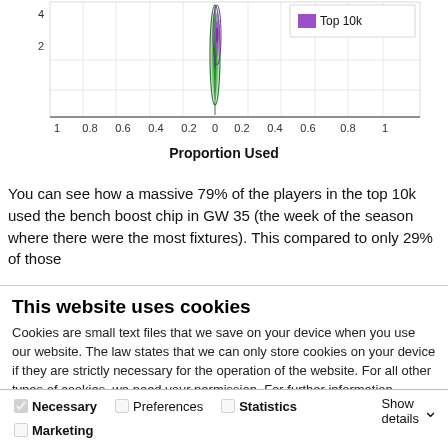[Figure (continuous-plot): Partial view of a horizontal chart showing 'Proportion Used' on the x-axis (range -1 to 1), with y-axis values 2 and 4 visible. A purple/teal distribution is plotted near center. Legend shows 'Top 10k' in purple.]
You can see how a massive 79% of the players in the top 10k used the bench boost chip in GW 35 (the week of the season where there were the most fixtures). This compared to only 29% of those
This website uses cookies
Cookies are small text files that we save on your device when you use our website. The law states that we can only store cookies on your device if they are strictly necessary for the operation of the website. For all other types of cookies, we need your permission. For further information, please see our Cookie Statement.
Allow all cookies
Allow selection
Use necessary cookies only
Necessary  Preferences  Statistics  Marketing  Show details